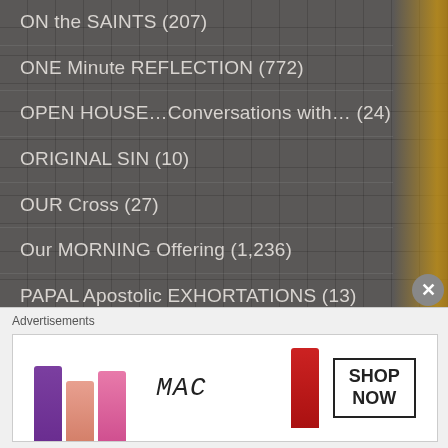ON the SAINTS (207)
ONE Minute REFLECTION (772)
OPEN HOUSE…Conversations with… (24)
ORIGINAL SIN (10)
OUR Cross (27)
Our MORNING Offering (1,236)
PAPAL Apostolic EXHORTATIONS (13)
PAPAL APOSTOLIC LETTERS (3)
PAPAL DECREE (13)
PAPAL ENCYLICALS (66)
PAPAL HOMILIES (215)
Advertisements
[Figure (advertisement): MAC cosmetics advertisement showing colorful lipsticks with MAC logo and SHOP NOW button]